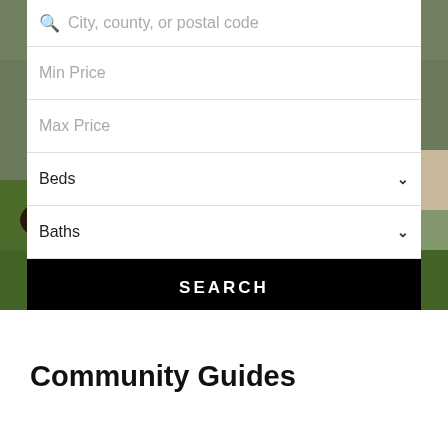[Figure (screenshot): Real estate search form with fields for city/county/postal code, min price, max price, beds dropdown, baths dropdown, and a SEARCH button, overlaid on a photo of a landscaped yard with grass, mulched garden beds, and shrubs]
Community Guides